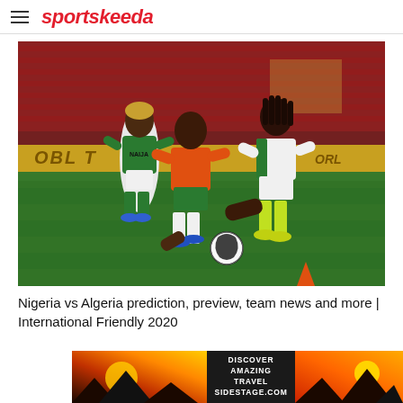sportskeeda
[Figure (photo): Nigeria national football team players in green and white NAIJA kits during a training/friendly match session on grass field inside a stadium with red seats. One player in orange/red training vest is competing for the ball. An orange traffic cone is visible in background.]
Nigeria vs Algeria prediction, preview, team news and more | International Friendly 2020
[Figure (other): Advertisement banner: DISCOVER AMAZING TRAVEL SIDESTAGE.COM with scenic sunset/mountain imagery on left and right sides]